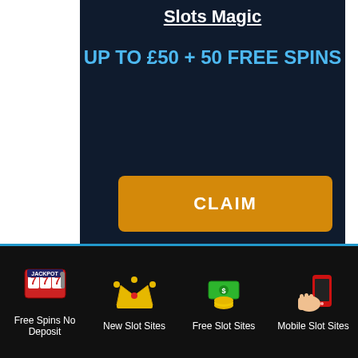Slots Magic
UP TO £50 + 50 FREE SPINS
CLAIM
First Deposit Only. Min. deposit: £10, max. Bonus £50. Game: Rich Wilde and the Book of Dead, Spin Value: £0.10, Max Extra
Free Spins No Deposit
New Slot Sites
Free Slot Sites
Mobile Slot Sites